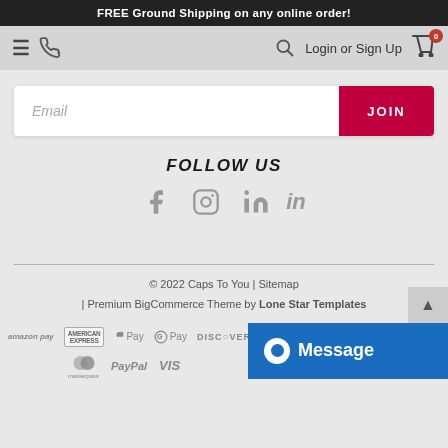FREE Ground Shipping on any online order!
[Figure (screenshot): Navigation bar with hamburger menu, phone icon, search icon, Login or Sign Up text, and cart with 0 badge]
Email
JOIN
FOLLOW US
[Figure (infographic): Social media icons: Facebook, Instagram, LinkedIn]
© 2022 Caps To You | Sitemap | Premium BigCommerce Theme by Lone Star Templates
[Figure (infographic): Payment method icons: amazon pay, American Express, Apple Pay, G Pay, Discover, Mastercard, masterpass, PayPal, Visa]
[Figure (screenshot): Blue Message chat button overlay in bottom right]